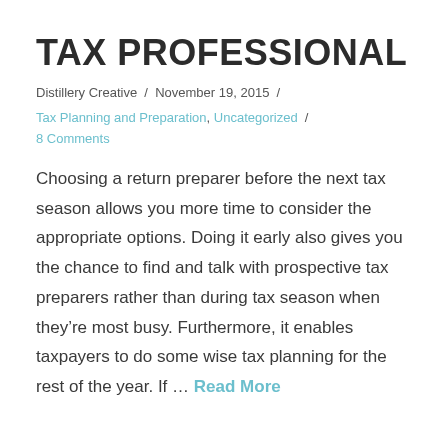TAX PROFESSIONAL
Distillery Creative / November 19, 2015 /
Tax Planning and Preparation, Uncategorized /
8 Comments
Choosing a return preparer before the next tax season allows you more time to consider the appropriate options. Doing it early also gives you the chance to find and talk with prospective tax preparers rather than during tax season when they're most busy. Furthermore, it enables taxpayers to do some wise tax planning for the rest of the year. If … Read More